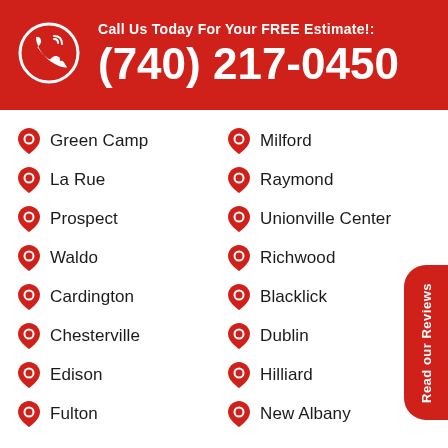Call Us Today For Your FREE Estimate!: (740) 217-0450
Green Camp
Milford
La Rue
Raymond
Prospect
Unionville Center
Waldo
Richwood
Cardington
Blacklick
Chesterville
Dublin
Edison
Hilliard
Fulton
New Albany